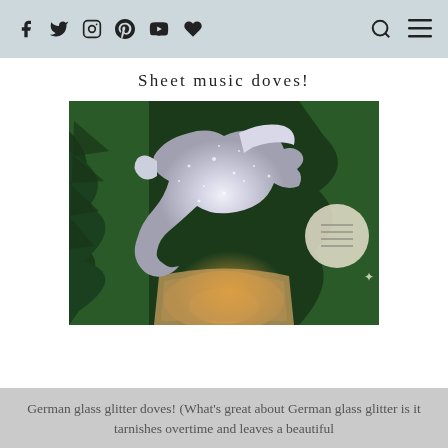Social media icons: Facebook, Twitter, Instagram, Pinterest, YouTube, Heart | Search icon | Menu icon
Sheet music doves!
[Figure (photo): A silver glitter dove ornament hanging on a Christmas tree with green pine branches. The dove is coated in sparkling German glass glitter. To the right is a partial view of a sheet music ornament. The background shows warm Christmas tree lights.]
German glass glitter doves! (What's great about German glass glitter is it tarnishes overtime and leaves a beautiful